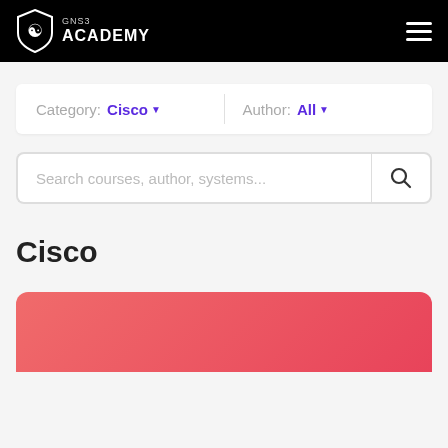GNS3 ACADEMY
Category: Cisco ▾   Author: All ▾
Search courses, author, systems...
Cisco
[Figure (other): Pink/red gradient card preview at the bottom of the page]